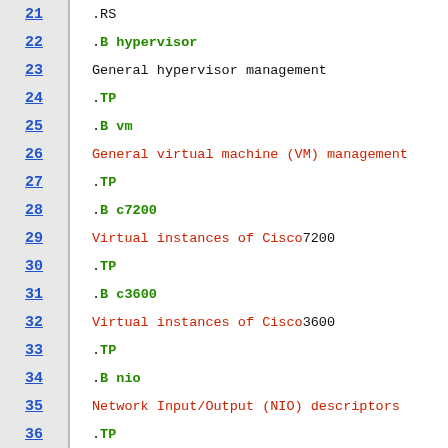21 .RS
22 .B hypervisor
23 General hypervisor management
24 .TP
25 .B vm
26 General virtual machine (VM) management
27 .TP
28 .B c7200
29 Virtual instances of Cisco 7200
30 .TP
31 .B c3600
32 Virtual instances of Cisco 3600
33 .TP
34 .B nio
35 Network Input/Output (NIO) descriptors
36 .TP
37 .B nio_bridge
38 NIO bridges (shared media)
39 .TP
40 .B atmsw
41 ATM switches
42 .TP
43 .B frsw